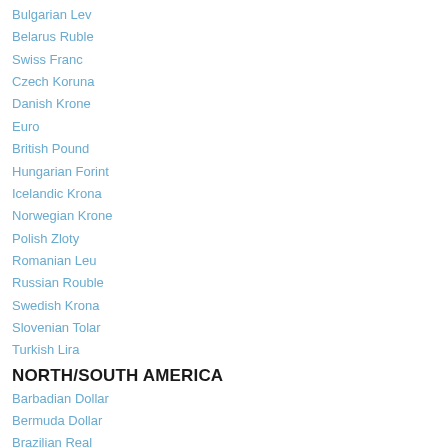Bulgarian Lev
Belarus Ruble
Swiss Franc
Czech Koruna
Danish Krone
Euro
British Pound
Hungarian Forint
Icelandic Krona
Norwegian Krone
Polish Zloty
Romanian Leu
Russian Rouble
Swedish Krona
Slovenian Tolar
Turkish Lira
NORTH/SOUTH AMERICA
Barbadian Dollar
Bermuda Dollar
Brazilian Real
Bahamian Dollar
Canadian Dollar